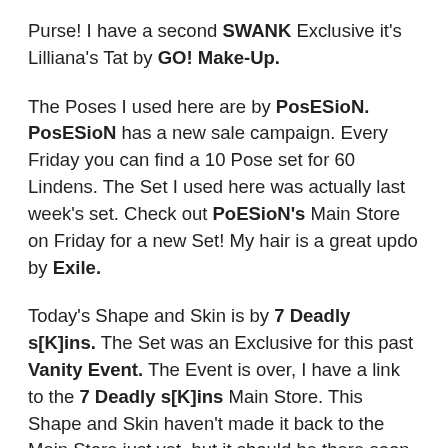Purse!  I have a second SWANK Exclusive it's Lilliana's Tat by GO! Make-Up.
The Poses I used here are by PosESioN.  PosESioN has a new sale campaign.  Every Friday you can find a 10 Pose set for 60 Lindens.  The Set I used here was actually last week's set.  Check out PoESioN's Main Store on Friday for a new Set!  My hair is a great updo by Exile.
Today's Shape and Skin is by 7 Deadly s[K]ins.  The Set was an Exclusive for this past Vanity Event.  The Event is over, I have a link to the 7 Deadly s[K]ins Main Store.  This Shape and Skin haven't made it back to the Main Store just yet, but it should be there soon. Since the Set was made for the GENUS Project Mesh Head, I linked the post directly to where you can find all of the GENUS Project Shapes and Skins!